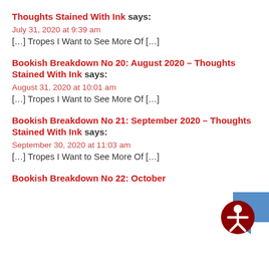Thoughts Stained With Ink says:
July 31, 2020 at 9:39 am
[…] Tropes I Want to See More Of […]
Bookish Breakdown No 20: August 2020 – Thoughts Stained With Ink says:
August 31, 2020 at 10:01 am
[…] Tropes I Want to See More Of […]
Bookish Breakdown No 21: September 2020 – Thoughts Stained With Ink says:
September 30, 2020 at 11:03 am
[…] Tropes I Want to See More Of […]
Bookish Breakdown No 22: October
[Figure (logo): Accessibility widget icon - circular badge with person/human figure icon in red and blue]